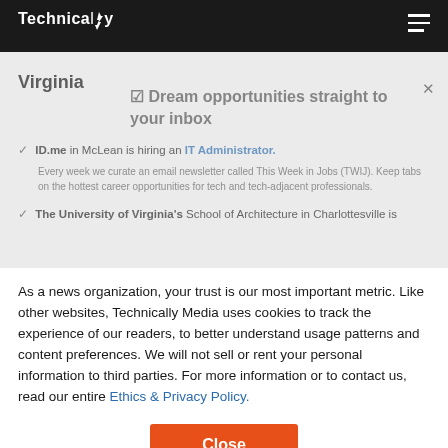Technically
Virginia
☑ Dream opportunities straight to your inbox
ID.me in McLean is hiring an IT Administrator.
The University of Virginia's School of Architecture in Charlottesville is
As a news organization, your trust is our most important metric. Like other websites, Technically Media uses cookies to track the experience of our readers, to better understand usage patterns and content preferences. We will not sell or rent your personal information to third parties. For more information or to contact us, read our entire Ethics & Privacy Policy.
Close